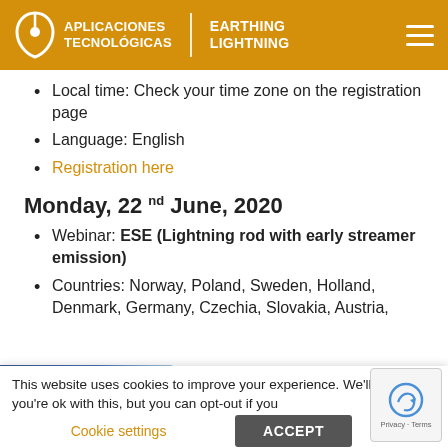APLICACIONES TECNOLÓGICAS | EARTHING LIGHTNING
Local time: Check your time zone on the registration page
Language: English
Registration here
Monday, 22nd June, 2020
Webinar: ESE (Lightning rod with early streamer emission)
Countries: Norway, Poland, Sweden, Holland, Denmark, Germany, Czechia, Slovakia, Austria, Switzerland, Turkey, Bulgaria, Greece
This website uses cookies to improve your experience. We'll assume you're ok with this, but you can opt-out if you
Cookie settings    ACCEPT